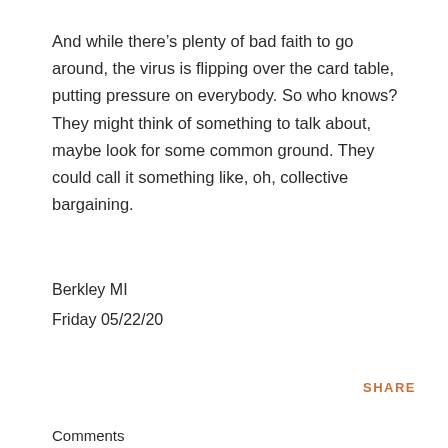And while there’s plenty of bad faith to go around, the virus is flipping over the card table, putting pressure on everybody. So who knows? They might think of something to talk about, maybe look for some common ground. They could call it something like, oh, collective bargaining.
Berkley MI
Friday 05/22/20
SHARE
Comments